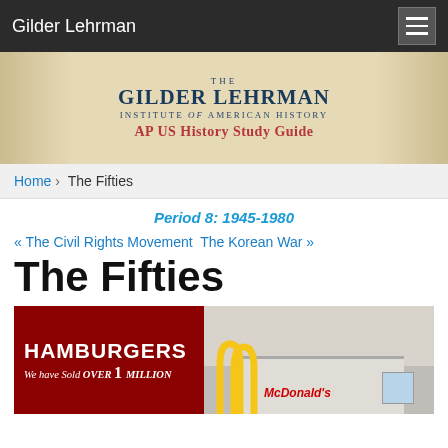Gilder Lehrman
[Figure (illustration): The Gilder Lehrman Institute of American History AP US History Study Guide banner with decorative historical imagery]
Home › The Fifties
Period 8: 1945-1980
« The Civil Rights Movement  The Korean War »
The Fifties
[Figure (photo): Photo of an early McDonald's restaurant with a red sign reading HAMBURGERS We have Sold OVER 1 MILLION, alongside the McDonald's building with golden arches]